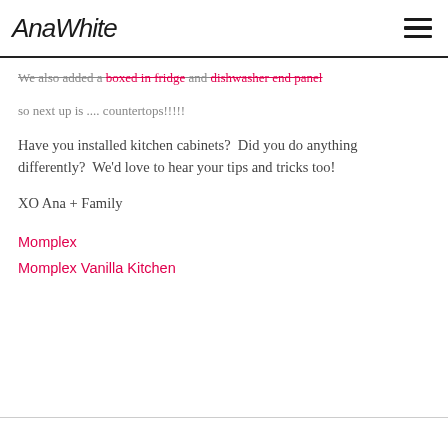AnaWhite
We also added a boxed in fridge and dishwasher end panel so next up is .... countertops!!!!!
Have you installed kitchen cabinets?  Did you do anything differently?  We'd love to hear your tips and tricks too!
XO Ana + Family
Momplex
Momplex Vanilla Kitchen